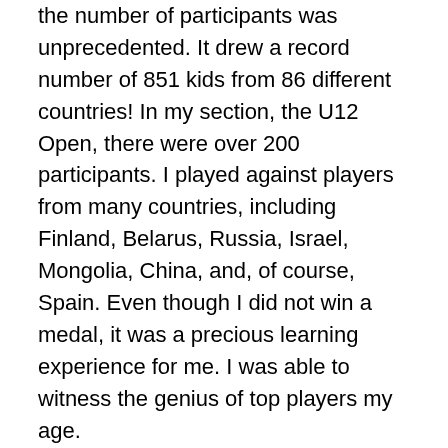the number of participants was unprecedented. It drew a record number of 851 kids from 86 different countries! In my section, the U12 Open, there were over 200 participants. I played against players from many countries, including Finland, Belarus, Russia, Israel, Mongolia, China, and, of course, Spain. Even though I did not win a medal, it was a precious learning experience for me. I was able to witness the genius of top players my age.
The tournament went on as normal, but the weather was unfriendly--it was monsoon season. When it was sunny and not raining, it was gorgeous. But for over half the duration of the tournament, it was stormy. On rainy